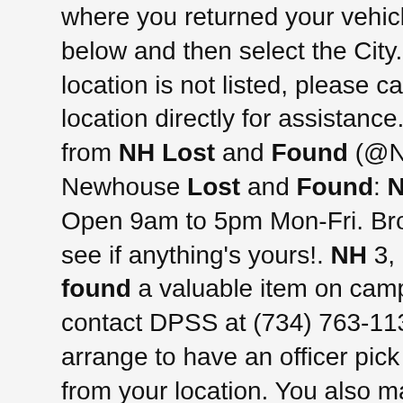where you returned your vehicle from the list below and then select the City. If your rental location is not listed, please call the return location directly for assistance. The latest Tweets from NH Lost and Found (@NHLostNFound). Newhouse Lost and Found: NH 3, Room 134 Open 9am to 5pm Mon-Fri. Browse our photos to see if anything's yours!. NH 3, Room 134. If you found a valuable item on campus, please contact DPSS at (734) 763-1131. We will arrange to have an officer pick up the lost item from your location. You also may drop off the item at UMPD: Campus Safety Services Building. Address: 1239 Kipke Dr., Ann Arbor, MI 48109. Hours: M-F, 8 a.m. – 4:30 p.m. Michigan Medicine Lost and Found.. houghton lake lodginghonda civic noise when turning left3m leadcheck swabs instant lead test 8 packthompson and son funeral home obituariessurvival